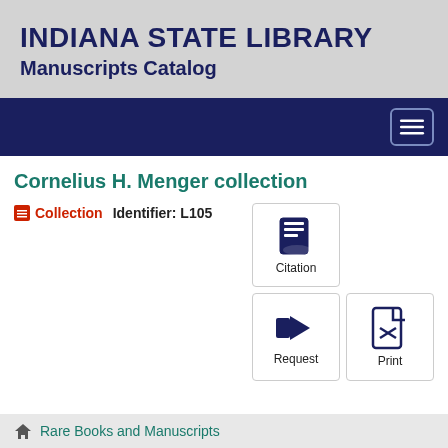INDIANA STATE LIBRARY
Manuscripts Catalog
[Figure (screenshot): Navigation bar with hamburger menu button on dark navy background]
Cornelius H. Menger collection
Collection   Identifier: L105
[Figure (infographic): Three action buttons: Citation (book icon), Request (megaphone icon), Print (PDF icon)]
Rare Books and Manuscripts